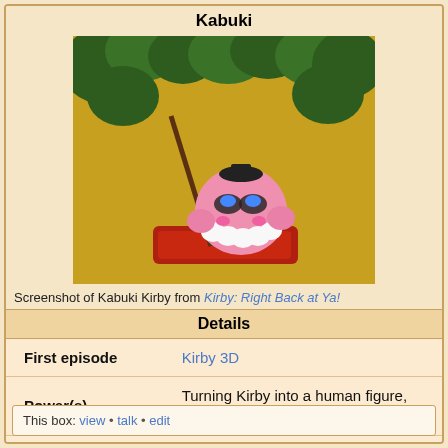Kabuki
[Figure (screenshot): Screenshot of Kabuki Kirby character from the anime Kirby: Right Back at Ya!]
Screenshot of Kabuki Kirby from Kirby: Right Back at Ya!
| Details |
| --- |
| First episode | Kirby 3D |
| Power(s) | Turning Kirby into a human figure, shooting a laser from his staff |
| Comparable to | Laser (attack)
Freeze (outfit) |
This box: view • talk • edit